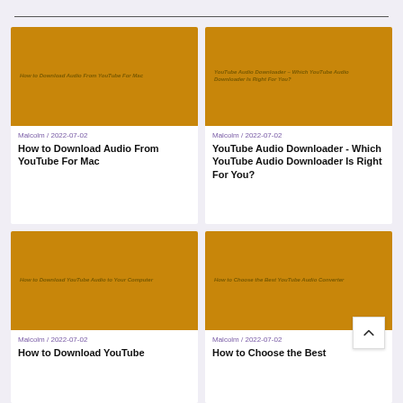[Figure (other): Card image for How to Download Audio From YouTube For Mac with golden/amber background]
Malcolm / 2022-07-02
How to Download Audio From YouTube For Mac
[Figure (other): Card image for YouTube Audio Downloader - Which YouTube Audio Downloader Is Right For You? with golden/amber background]
Malcolm / 2022-07-02
YouTube Audio Downloader - Which YouTube Audio Downloader Is Right For You?
[Figure (other): Card image for How to Download YouTube Audio to Your Computer with golden/amber background]
Malcolm / 2022-07-02
How to Download YouTube
[Figure (other): Card image for How to Choose the Best YouTube Audio Converter with golden/amber background]
Malcolm / 2022-07-02
How to Choose the Best